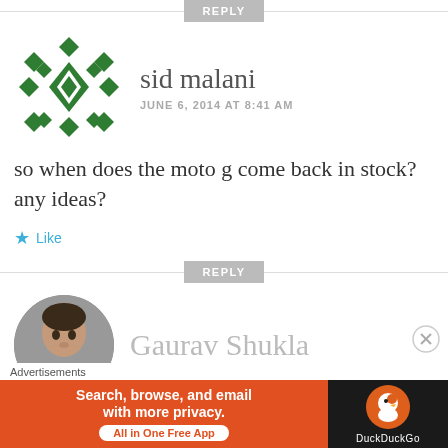[Figure (other): REPLY button with horizontal divider lines on each side]
[Figure (illustration): Green geometric diamond/snowflake pattern avatar for sid malani]
sid malani
JUNE 6, 2014 AT 8:41 AM
so when does the moto g come back in stock?any ideas?
★ Like
[Figure (other): REPLY button with horizontal divider lines on each side]
[Figure (photo): Circular avatar photo of Gaurav Shukla]
Gaurav Shukla
Advertisements
[Figure (other): DuckDuckGo advertisement banner: Search, browse, and email with more privacy. All in One Free App]